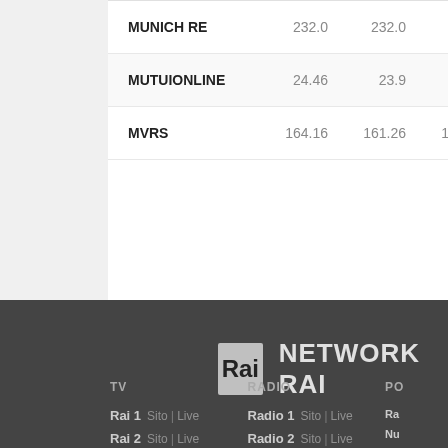| Name | Val1 | Val2 | Val3 | Val4 |
| --- | --- | --- | --- | --- |
| MUNICH RE | 232.0 | 232.0 | 233.0 | 2… |
| MUTUIONLINE | 24.46 | 23.9 | 24.7 | 2… |
| MVRS | 164.16 | 161.26 | 164.72 | 16… |
[Figure (logo): Rai logo box with text 'Rai' and heading 'NETWORK RAI']
TV
Rai 1 Sito | Live
Rai 2 Sito | Live
Rai 3 Sito | Live
Rai 4 Sito | Live
Rai 5 Sito | Live
RADIO
Radio 1 Sito | Live
Radio 2 Sito | Live
Radio 3 Sito | Live
Radiofd4 Sito | Live
Radiofd5 Sito | Live